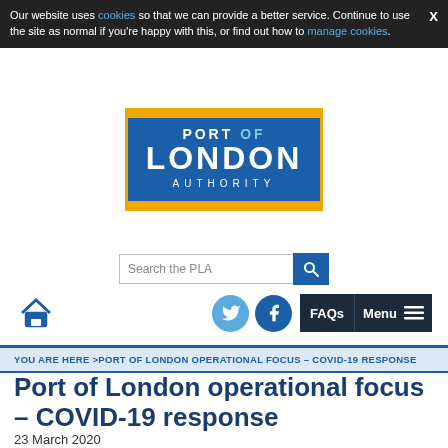Our website uses cookies so that we can provide a better service. Continue to use the site as normal if you're happy with this, or find out how to manage cookies.
[Figure (logo): Port of London Authority logo: blue rectangle with gold border stripes, white text reading PORT OF LONDON AUTHORITY]
[Figure (screenshot): Search bar with placeholder text 'Search the PLA' and a blue search button with magnifying glass icon]
[Figure (screenshot): Navigation bar with home icon, Twitter and Facebook social icons, FAQs and Menu buttons]
YOU ARE HERE >PORT OF LONDON OPERATIONAL FOCUS – COVID-19 RESPONSE
Port of London operational focus – COVID-19 response
23 March 2020